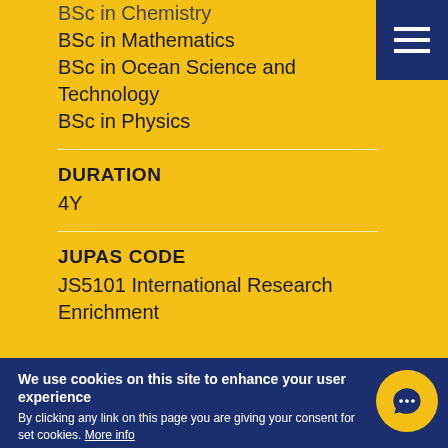BSc in Chemistry
BSc in Mathematics
BSc in Ocean Science and Technology
BSc in Physics
DURATION
4Y
JUPAS CODE
JS5101 International Research Enrichment
We use cookies on this site to enhance your user experience
By clicking any link on this page you are giving your consent for set cookies. More info